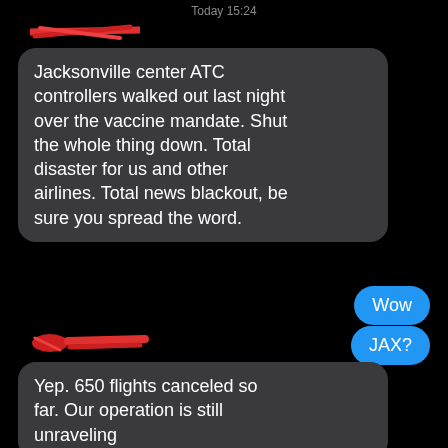Today 15:24
[Figure (illustration): Redacted name/avatar in red scribble marks, top left]
Jacksonville center ATC controllers walked out last night over the vaccine mandate. Shut the whole thing down. Total disaster for us and other airlines. Total news blackout, be sure you spread the word.
Wow
JAX?
[Figure (illustration): Redacted name/avatar in red scribble marks, lower left]
Yep. 650 flights canceled so far. Our operation is still unraveling